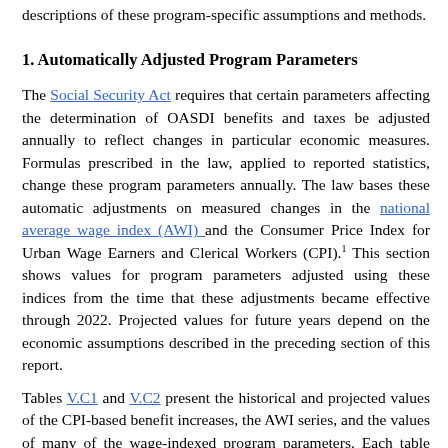descriptions of these program-specific assumptions and methods.
1. Automatically Adjusted Program Parameters
The Social Security Act requires that certain parameters affecting the determination of OASDI benefits and taxes be adjusted annually to reflect changes in particular economic measures. Formulas prescribed in the law, applied to reported statistics, change these program parameters annually. The law bases these automatic adjustments on measured changes in the national average wage index (AWI) and the Consumer Price Index for Urban Wage Earners and Clerical Workers (CPI).1 This section shows values for program parameters adjusted using these indices from the time that these adjustments became effective through 2022. Projected values for future years depend on the economic assumptions described in the preceding section of this report.
Tables V.C1 and V.C2 present the historical and projected values of the CPI-based benefit increases, the AWI series, and the values of many of the wage-indexed program parameters. Each table shows projections under the three alternative sets of